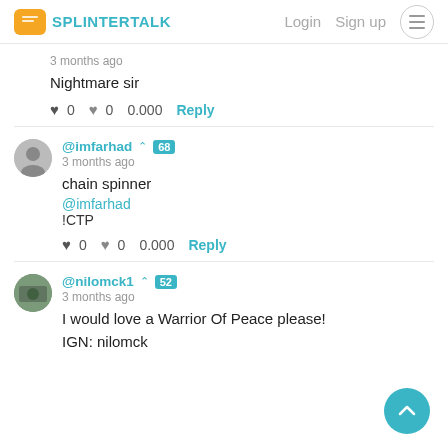SPLITERTALK  Login  Sign up
3 months ago
Nightmare sir
♥ 0  ♥ 0  0.000  Reply
@imfarhad ✓ 68
3 months ago
chain spinner
@imfarhad
!CTP
♥ 0  ♥ 0  0.000  Reply
@nilomck1 ✓ 52
3 months ago
I would love a Warrior Of Peace please!
IGN: nilomck